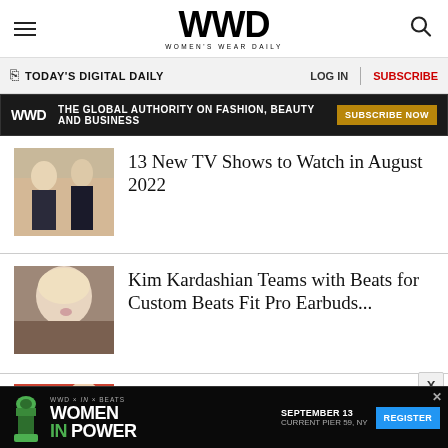WWD — WOMEN'S WEAR DAILY
TODAY'S DIGITAL DAILY | LOG IN | SUBSCRIBE
WWD — THE GLOBAL AUTHORITY ON FASHION, BEAUTY AND BUSINESS — SUBSCRIBE NOW
13 New TV Shows to Watch in August 2022
Kim Kardashian Teams with Beats for Custom Beats Fit Pro Earbuds...
Melania Trump's Former Stylist Ad...
[Figure (photo): Two people standing in a desert landscape for '13 New TV Shows' article]
[Figure (photo): Portrait of Kim Kardashian with platinum blonde hair]
[Figure (photo): Melania Trump article thumbnail]
[Figure (infographic): WWD Women In Power event advertisement banner with chess piece logo, September 13, Current Pier 59, NY — Register button]